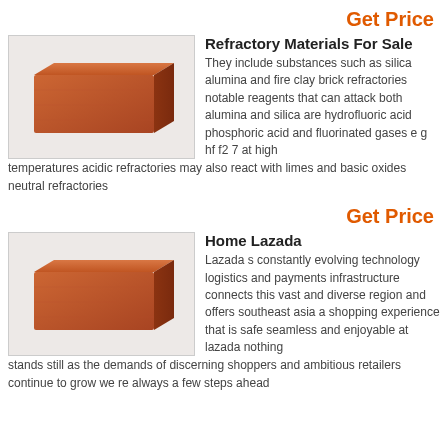Get Price
[Figure (photo): A rectangular orange/terracotta refractory brick on a light gray background]
Refractory Materials For Sale
They include substances such as silica alumina and fire clay brick refractories notable reagents that can attack both alumina and silica are hydrofluoric acid phosphoric acid and fluorinated gases e g hf f2 7 at high temperatures acidic refractories may also react with limes and basic oxides neutral refractories
Get Price
[Figure (photo): A rectangular orange/terracotta brick on a light gray background]
Home Lazada
Lazada s constantly evolving technology logistics and payments infrastructure connects this vast and diverse region and offers southeast asia a shopping experience that is safe seamless and enjoyable at lazada nothing stands still as the demands of discerning shoppers and ambitious retailers continue to grow we re always a few steps ahead